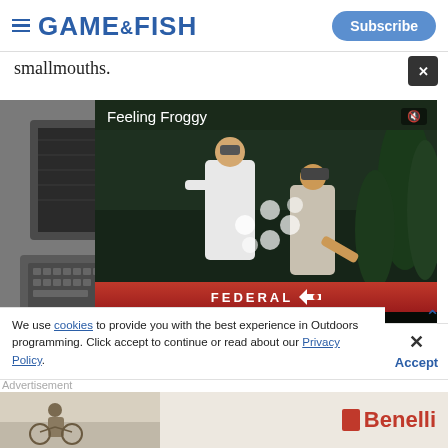GAME & FISH | Subscribe
smallmouths.
[Figure (screenshot): Video player overlay showing 'Feeling Froggy' video with two anglers, video controls showing 00:00 / 04:14, and Federal ammunition branding at the bottom. Background shows an old computer image.]
We use cookies to provide you with the best experience in Outdoors programming. Click accept to continue or read about our Privacy Policy.
Advertisement
[Figure (photo): Benelli advertisement showing a person in outdoor setting with a Benelli logo on the right.]